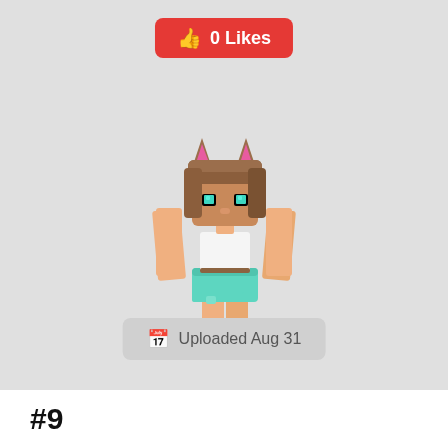[Figure (screenshot): Minecraft character skin: a female character with brown hair, pink cat ears, teal/cyan eyes, white crop top, teal skirt, and peach/skin-toned legs, shown in a 3D perspective render on a light gray background]
0 Likes
Uploaded Aug 31
#9